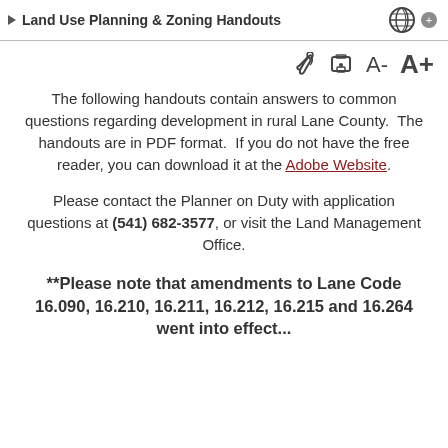Land Use Planning & Zoning Handouts
The following handouts contain answers to common questions regarding development in rural Lane County.  The handouts are in PDF format.  If you do not have the free reader, you can download it at the Adobe Website.
Please contact the Planner on Duty with application questions at (541) 682-3577, or visit the Land Management Office.
**Please note that amendments to Lane Code 16.090, 16.210, 16.211, 16.212, 16.215 and 16.264 went into effect...